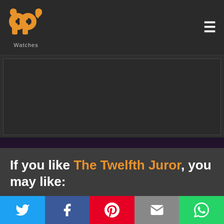PP Watches — navigation header with logo and hamburger menu
[Figure (other): Advertisement banner placeholder — dark grey rectangle]
If you like The Twelfth Juror, you may like:
[Figure (illustration): Partial book cover image at bottom of card — colorful fantasy/sci-fi artwork with stars and character]
[Figure (other): Social media sharing bar: Twitter, Facebook, Pinterest, Email, WhatsApp]